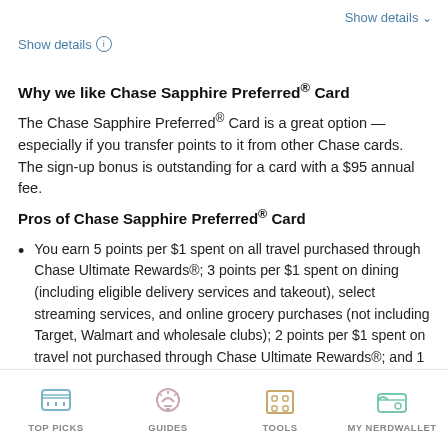Show details ∨
Show details ℹ
Why we like Chase Sapphire Preferred® Card
The Chase Sapphire Preferred® Card is a great option — especially if you transfer points to it from other Chase cards. The sign-up bonus is outstanding for a card with a $95 annual fee.
Pros of Chase Sapphire Preferred® Card
You earn 5 points per $1 spent on all travel purchased through Chase Ultimate Rewards®; 3 points per $1 spent on dining (including eligible delivery services and takeout), select streaming services, and online grocery purchases (not including Target, Walmart and wholesale clubs); 2 points per $1 spent on travel not purchased through Chase Ultimate Rewards®; and 1 point per $1 spent on other purchases. Points are worth 25% more
TOP PICKS   GUIDES   TOOLS   MY NERDWALLET